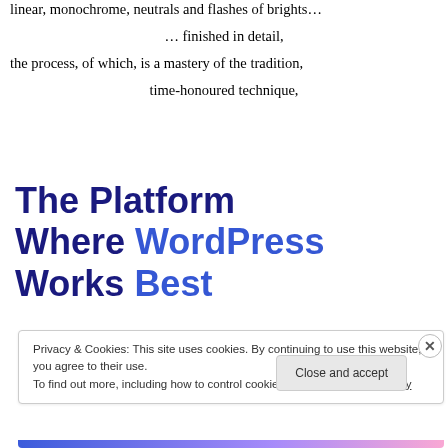linear, monochrome, neutrals and flashes of brights…
… finished in detail,
the process, of which, is a mastery of the tradition,
time-honoured technique,
The Platform Where WordPress Works Best
Privacy & Cookies: This site uses cookies. By continuing to use this website, you agree to their use.
To find out more, including how to control cookies, see here: Cookie Policy